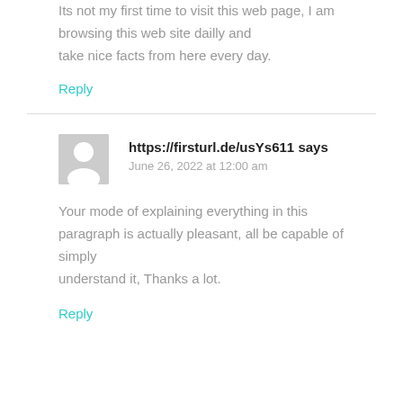Its not my first time to visit this web page, I am browsing this web site dailly and take nice facts from here every day.
Reply
https://firsturl.de/usYs611 says
June 26, 2022 at 12:00 am
Your mode of explaining everything in this paragraph is actually pleasant, all be capable of simply understand it, Thanks a lot.
Reply